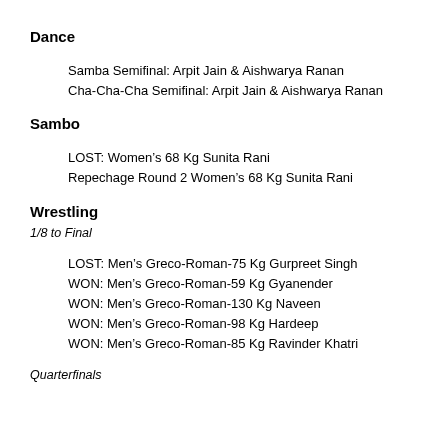Dance
Samba Semifinal: Arpit Jain & Aishwarya Ranan
Cha-Cha-Cha Semifinal: Arpit Jain & Aishwarya Ranan
Sambo
LOST: Women's 68 Kg Sunita Rani
Repechage Round 2 Women's 68 Kg Sunita Rani
Wrestling
1/8 to Final
LOST: Men's Greco-Roman-75 Kg Gurpreet Singh
WON: Men's Greco-Roman-59 Kg Gyanender
WON: Men's Greco-Roman-130 Kg Naveen
WON: Men's Greco-Roman-98 Kg Hardeep
WON: Men's Greco-Roman-85 Kg Ravinder Khatri
Quarterfinals